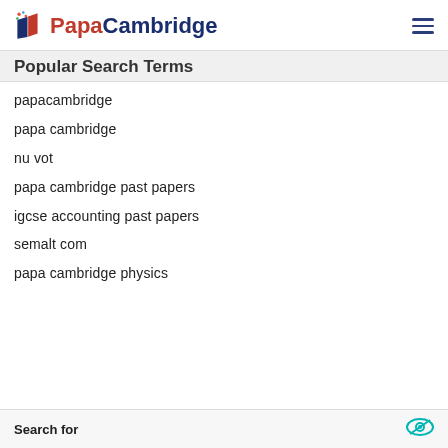PapaCambridge
Popular Search Terms
papacambridge
papa cambridge
nu vot
papa cambridge past papers
igcse accounting past papers
semalt com
papa cambridge physics
Search for